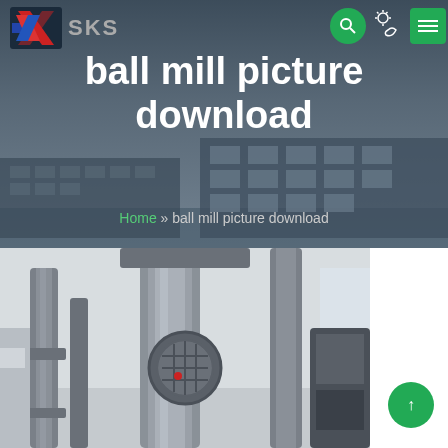[Figure (screenshot): SKS company logo with red and blue stylized S icon and grey SKS text]
ball mill picture download
Home » ball mill picture download
[Figure (photo): Close-up photograph of industrial ball mill machinery with grey metal pipes, drums, and mechanical components in a factory setting]